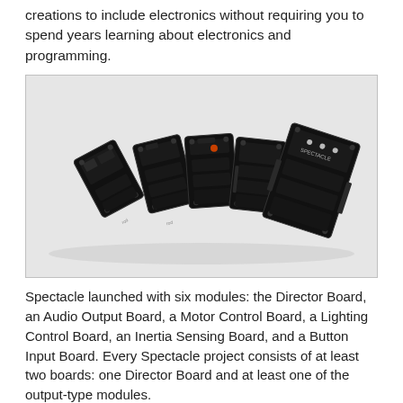creations to include electronics without requiring you to spend years learning about electronics and programming.
[Figure (photo): Six Spectacle electronic circuit boards arranged in a fan/arc pattern on a light grey background. The boards are black PCBs of varying sizes, with the largest board on the right side. They are labeled with 'rod' logos and have various connectors and components visible.]
Spectacle launched with six modules: the Director Board, an Audio Output Board, a Motor Control Board, a Lighting Control Board, an Inertia Sensing Board, and a Button Input Board. Every Spectacle project consists of at least two boards: one Director Board and at least one of the output-type modules.
Director Board